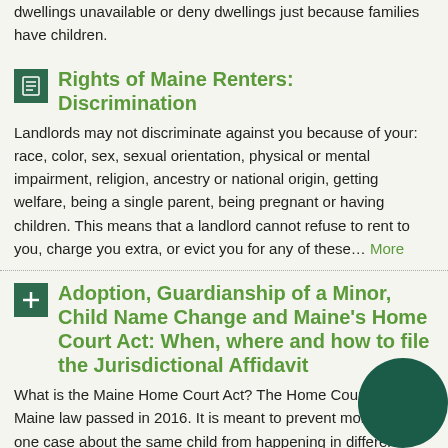dwellings unavailable or deny dwellings just because families have children.
Rights of Maine Renters: Discrimination
Landlords may not discriminate against you because of your: race, color, sex, sexual orientation, physical or mental impairment, religion, ancestry or national origin, getting welfare, being a single parent, being pregnant or having children. This means that a landlord cannot refuse to rent to you, charge you extra, or evict you for any of these… More
Adoption, Guardianship of a Minor, Child Name Change and Maine's Home Court Act: When, where and how to file the Jurisdictional Affidavit
What is the Maine Home Court Act? The Home Court Act is a Maine law passed in 2016. It is meant to prevent more than one case about the same child from happening in different courts. Courts use the